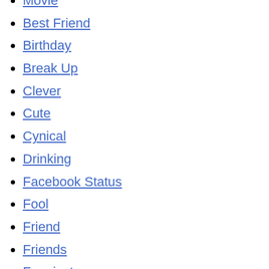Movie
Best Friend
Birthday
Break Up
Clever
Cute
Cynical
Drinking
Facebook Status
Fool
Friend
Friends
Funniest
Girls
God